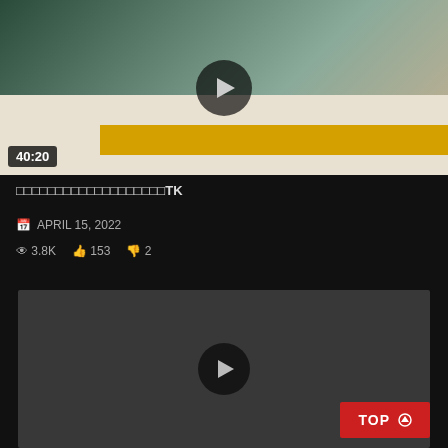[Figure (screenshot): Video thumbnail showing a person lying on a bed, duration 40:20]
□□□□□□□□□□□□□□□□□□□TK
APRIL 15, 2022
3.8K  153  2
[Figure (screenshot): Second video player area, dark gray background with play button]
TOP